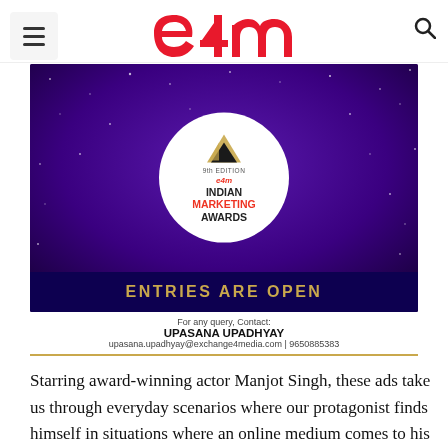e4m
[Figure (illustration): e4m Indian Marketing Awards banner — 9th Edition, entries are open. Contact: Upasana Upadhyay, upasana.upadhyay@exchange4media.com | 9650885383]
Starring award-winning actor Manjot Singh, these ads take us through everyday scenarios where our protagonist finds himself in situations where an online medium comes to his rescue. From taking music lessons online to booking a cab at 3 a.m., this campaign sets a very relatable context for the audience before coming to its central message - if you can